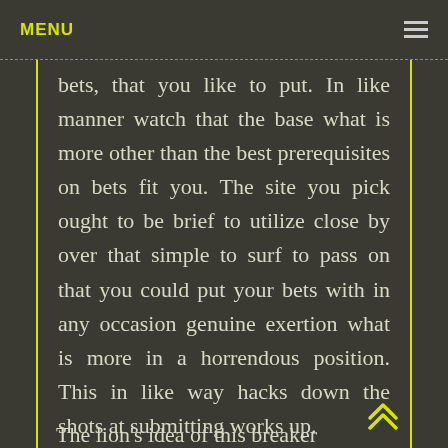MENU
bets, that you like to put. In like manner watch that the base what is more other than the best prerequisites on bets fit you. The site you pick ought to be brief to utilize close by over that simple to surf to pass on that you could put your bets with in any occasion genuine exertion what is more in a horrendous position. This in like way hacks down the shots at submitting works up.
The lion's idea of this breaker